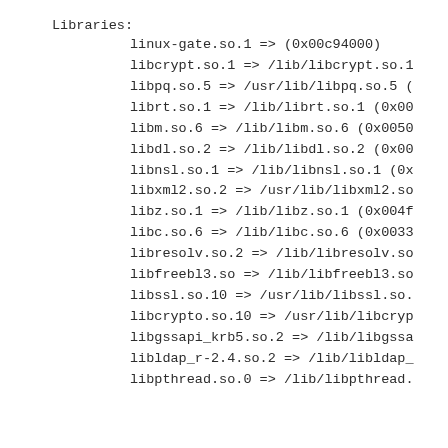Libraries:
linux-gate.so.1 =>  (0x00c94000)
libcrypt.so.1 => /lib/libcrypt.so.1
libpq.so.5 => /usr/lib/libpq.so.5 (
librt.so.1 => /lib/librt.so.1 (0x00
libm.so.6 => /lib/libm.so.6 (0x0050
libdl.so.2 => /lib/libdl.so.2 (0x00
libnsl.so.1 => /lib/libnsl.so.1 (0x
libxml2.so.2 => /usr/lib/libxml2.so
libz.so.1 => /lib/libz.so.1 (0x004f
libc.so.6 => /lib/libc.so.6 (0x0033
libresolv.so.2 => /lib/libresolv.so
libfreebl3.so => /lib/libfreebl3.so
libssl.so.10 => /usr/lib/libssl.so.
libcrypto.so.10 => /usr/lib/libcryp
libgssapi_krb5.so.2 => /lib/libgssa
libldap_r-2.4.so.2 => /lib/libldap_
libpthread.so.0 => /lib/libpthread.